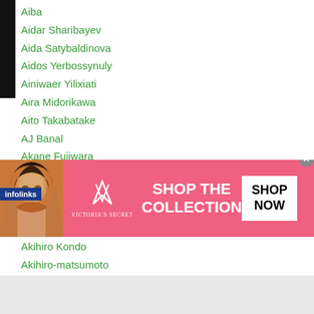Aiba
Aidar Sharibayev
Aida Satybaldinova
Aidos Yerbossynuly
Ainiwaer Yilixiati
Aira Midorikawa
Aito Takabatake
AJ Banal
Akane Fujiwara
Aka Ringo
Akifumi Shimoda
Akifumi-shimoda
Akihiko Honda
Akihiro Kondo
Akihiro-matsumoto
Toya
[Figure (screenshot): Victoria's Secret advertisement banner with pink background, model photo, VS logo, 'SHOP THE COLLECTION' text, and 'SHOP NOW' button. Overlaid with infolinks badge.]